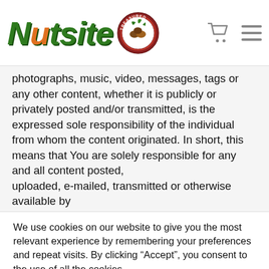[Figure (logo): Nutsite logo with italic green bold text and an orange dot, alongside a circular Treasured Harvest badge with nuts and leaves, plus a shopping cart icon and hamburger menu icon]
photographs, music, video, messages, tags or any other content, whether it is publicly or privately posted and/or transmitted, is the expressed sole responsibility of the individual from whom the content originated. In short, this means that You are solely responsible for any and all content posted,
uploaded, e-mailed, transmitted or otherwise available by
We use cookies on our website to give you the most relevant experience by remembering your preferences and repeat visits. By clicking “Accept”, you consent to the use of all the cookies.
Cookie Settings | Accept